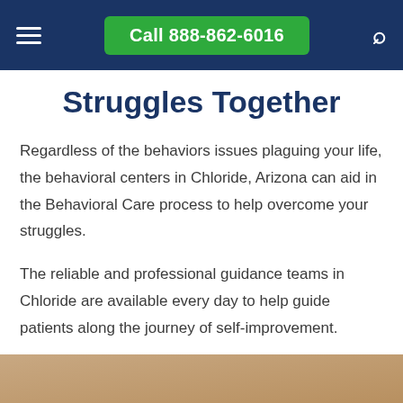Call 888-862-6016
Struggles Together
Regardless of the behaviors issues plaguing your life, the behavioral centers in Chloride, Arizona can aid in the Behavioral Care process to help overcome your struggles.
The reliable and professional guidance teams in Chloride are available every day to help guide patients along the journey of self-improvement.
[Figure (photo): Partial view of a photo at the bottom of the page, showing warm brown/tan tones]